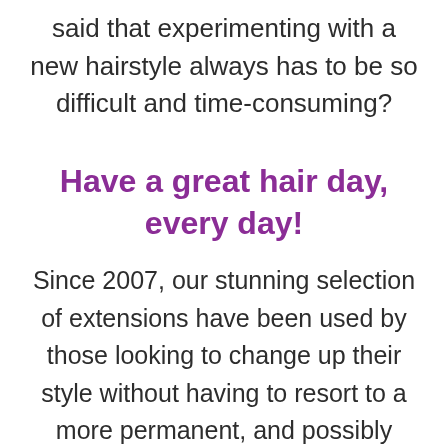said that experimenting with a new hairstyle always has to be so difficult and time-consuming?
Have a great hair day, every day!
Since 2007, our stunning selection of extensions have been used by those looking to change up their style without having to resort to a more permanent, and possibly